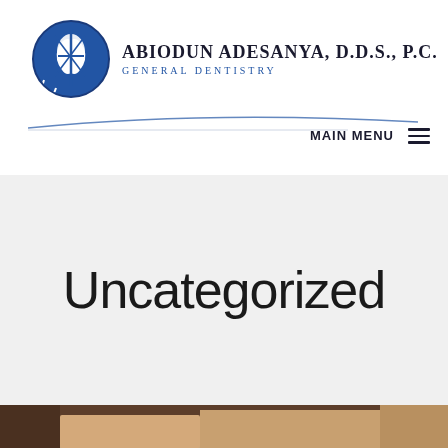[Figure (logo): Abiodun Adesanya DDS PC General Dentistry logo with blue circular emblem containing a tooth and dental instruments, followed by practice name and specialty text]
MAIN MENU
Uncategorized
[Figure (photo): Partial photo of a person's face, cropped at bottom of page]